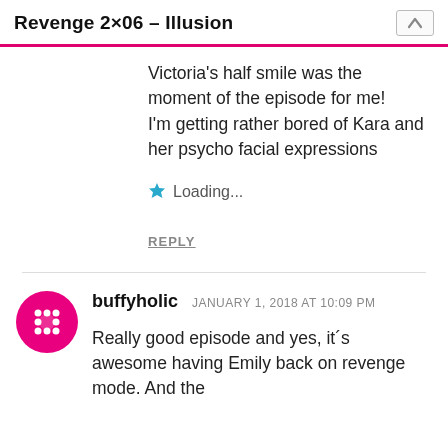Revenge 2×06 – Illusion
Victoria's half smile was the moment of the episode for me!
I'm getting rather bored of Kara and her psycho facial expressions
★ Loading...
REPLY
buffyholic  JANUARY 1, 2018 AT 10:09 PM
Really good episode and yes, it´s awesome having Emily back on revenge mode. And the